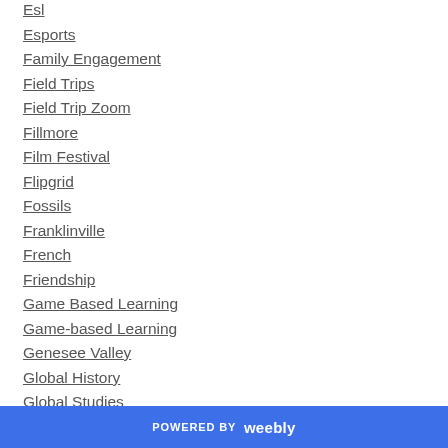Esl
Esports
Family Engagement
Field Trips
Field Trip Zoom
Fillmore
Film Festival
Flipgrid
Fossils
Franklinville
French
Friendship
Game Based Learning
Game-based Learning
Genesee Valley
Global History
Global Studies
POWERED BY weebly